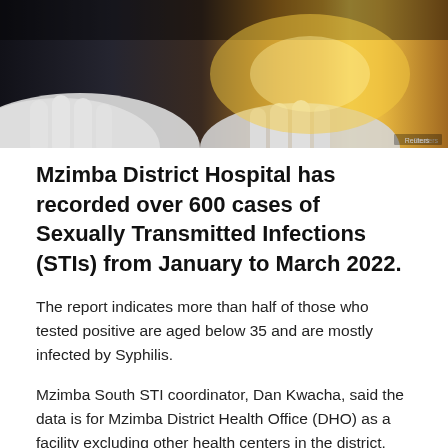[Figure (photo): Close-up photo of gloved hands performing a medical procedure or vaccine injection, with a warm yellow/amber light in the background. Reuters watermark visible in bottom right corner.]
Mzimba District Hospital has recorded over 600 cases of Sexually Transmitted Infections (STIs) from January to March 2022.
The report indicates more than half of those who tested positive are aged below 35 and are mostly infected by Syphilis.
Mzimba South STI coordinator, Dan Kwacha, said the data is for Mzimba District Health Office (DHO) as a facility excluding other health centers in the district.
“We are trying to train more people who can correctly diagnose and correctly treat the cases.